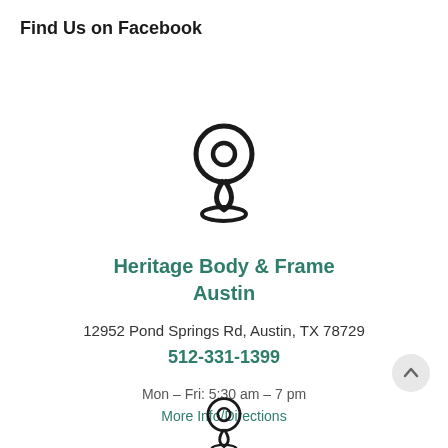Find Us on Facebook
[Figure (illustration): Location pin / map marker icon (outline style, dark stroke)]
Heritage Body & Frame Austin
12952 Pond Springs Rd, Austin, TX 78729
512-331-1399
Mon – Fri: 5:30 am – 7 pm
More Info/Directions
[Figure (illustration): Partial location pin / map marker icon (outline style, dark stroke) at bottom of page]